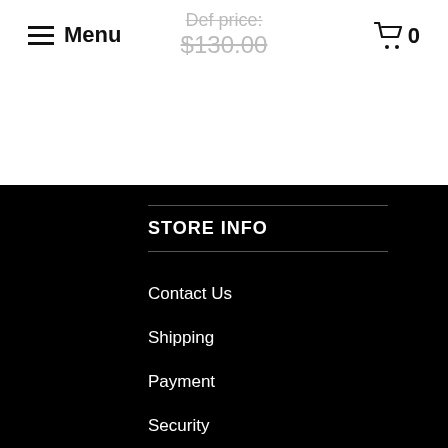Menu
Def price: $130.00
STORE INFO
Contact Us
Shipping
Payment
Security
Sizing
Privacy
Terms of Use
Cookies Policy